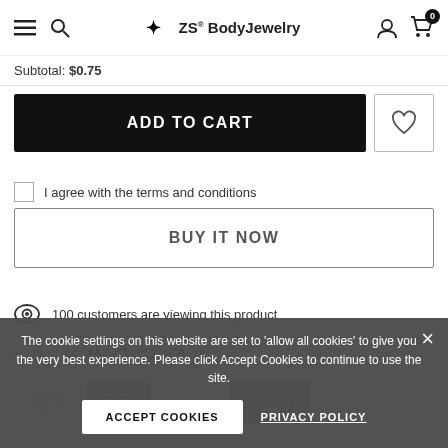ZS BodyJewelry — navigation bar with menu, search, logo, account, cart (0)
Subtotal: $0.75
ADD TO CART
I agree with the terms and conditions
BUY IT NOW
100 customers are viewing this product
[Figure (screenshot): Social share icons row: Facebook, Twitter, Pinterest, Google+, bookmark, heart, email, plus]
[Figure (logo): Trust badges: Norton Secured powered by Symantec, Comodo Verified, AuthenticSeal, BBB Accredited Business]
The cookie settings on this website are set to 'allow all cookies' to give you the very best experience. Please click Accept Cookies to continue to use the site.
ACCEPT COOKIES
PRIVACY POLICY